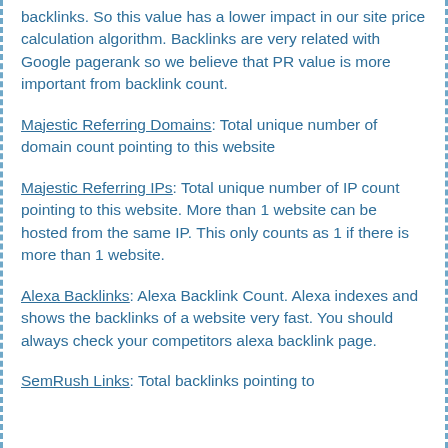backlinks. So this value has a lower impact in our site price calculation algorithm. Backlinks are very related with Google pagerank so we believe that PR value is more important from backlink count.
Majestic Referring Domains: Total unique number of domain count pointing to this website
Majestic Referring IPs: Total unique number of IP count pointing to this website. More than 1 website can be hosted from the same IP. This only counts as 1 if there is more than 1 website.
Alexa Backlinks: Alexa Backlink Count. Alexa indexes and shows the backlinks of a website very fast. You should always check your competitors alexa backlink page.
SemRush Links: Total backlinks pointing to